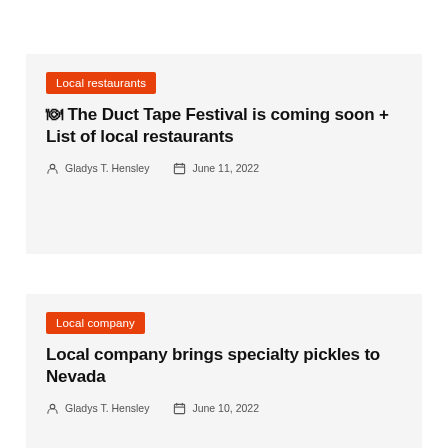Local restaurants
🍽 The Duct Tape Festival is coming soon + List of local restaurants
Gladys T. Hensley  June 11, 2022
Local company
Local company brings specialty pickles to Nevada
Gladys T. Hensley  June 10, 2022